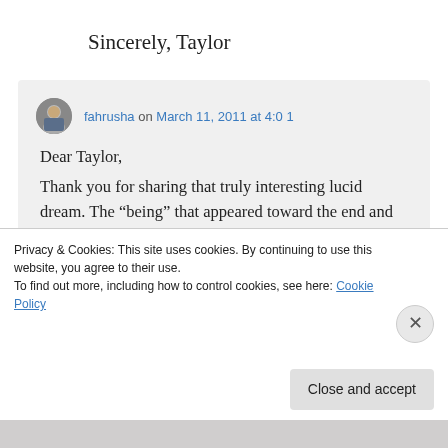Sincerely, Taylor
fahrusha on March 11, 2011 at 4:0 1
Dear Taylor,
Thank you for sharing that truly interesting lucid dream. The “being” that appeared toward the end and spoke to you could have been anything from an interdimensional being to your higher self
Privacy & Cookies: This site uses cookies. By continuing to use this website, you agree to their use.
To find out more, including how to control cookies, see here: Cookie Policy
Close and accept